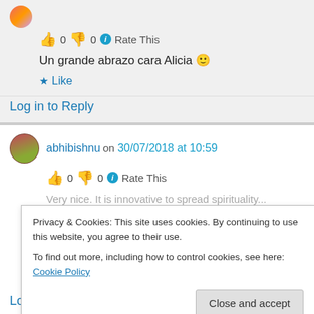👍 0 👎 0 ℹ Rate This
Un grande abrazo cara Alicia 🙂
★ Like
Log in to Reply
abhibishnu on 30/07/2018 at 10:59
👍 0 👎 0 ℹ Rate This
Very nice. It is innovative to spread spirituality...
Privacy & Cookies: This site uses cookies. By continuing to use this website, you agree to their use. To find out more, including how to control cookies, see here: Cookie Policy
Close and accept
Log in to Reply